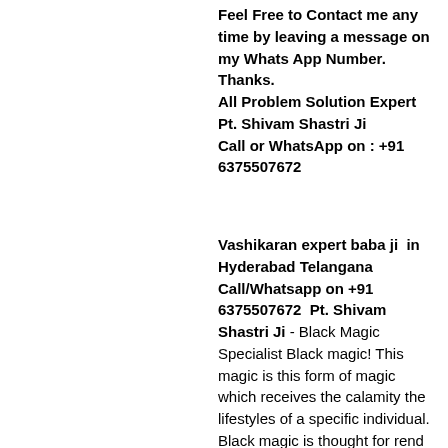Feel Free to Contact me any time by leaving a message on my Whats App Number. Thanks.
All Problem Solution Expert Pt. Shivam Shastri Ji
Call or WhatsApp on : +91 6375507672
Vashikaran expert baba ji  in Hyderabad Telangana Call/Whatsapp on +91 6375507672  Pt. Shivam Shastri Ji - Black Magic Specialist Black magic! This magic is this form of magic which receives the calamity the lifestyles of a specific individual. Black magic is thought for rend the retribution from the proper person. One can hire the black magic to satisfy their underhanded dreams. Along those strains there are various the those who himself furthermore want to bear because of it. Black magic is prepared lousy energies. Individuals the humans who